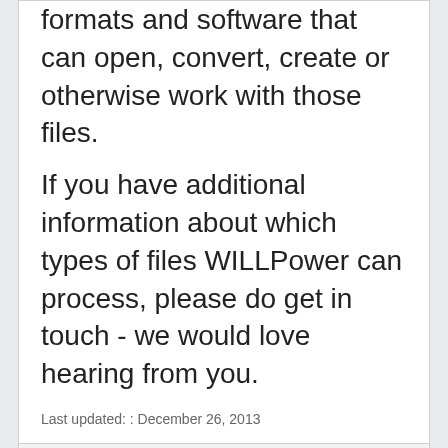formats and software that can open, convert, create or otherwise work with those files.
If you have additional information about which types of files WILLPower can process, please do get in touch - we would love hearing from you.
Last updated: : December 26, 2013
Update information
What is a file extension?
A file extension is the characters after the last dot in a file